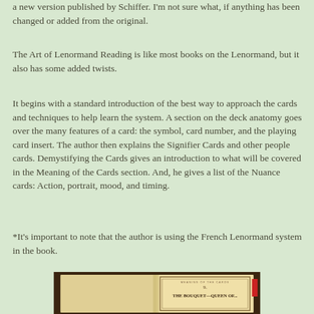a new version published by Schiffer. I'm not sure what, if anything has been changed or added from the original.
The Art of Lenormand Reading is like most books on the Lenormand, but it also has some added twists.
It begins with a standard introduction of the best way to approach the cards and techniques to help learn the system. A section on the deck anatomy goes over the many features of a card: the symbol, card number, and the playing card insert. The author then explains the Signifier Cards and other people cards. Demystifying the Cards gives an introduction to what will be covered in the Meaning of the Cards section. And, he gives a list of the Nuance cards: Action, portrait, mood, and timing.
*It's important to note that the author is using the French Lenormand system in the book.
[Figure (photo): An open book showing a page titled 'THE BOUQUET - QUEEN OF...' with decorative border and the number 9, displayed on what appears to be a wooden surface.]